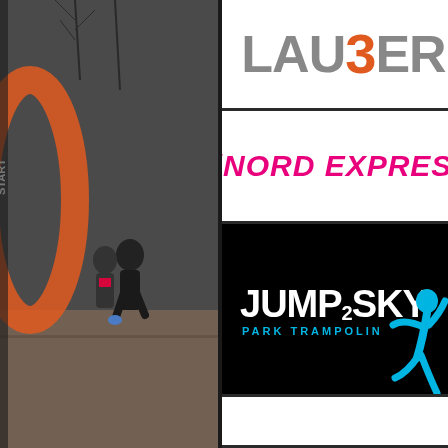[Figure (photo): Photo of runners at a race start line with an orange inflatable arch saying START, taken outdoors in winter conditions]
[Figure (logo): LAUBER logo in gray block letters with an orange/red stylized '3' in place of the letter B]
[Figure (logo): iNord Express logo in hot pink italic bold letters]
[Figure (logo): Jump2Sky Park Trampolin logo in white bold text on black background with cyan jumping figure silhouette]
[Figure (photo): Photo of a runner in an orange vest running on a street with spectators and road signs visible]
[Figure (other): White empty logo box at the bottom of the center column]